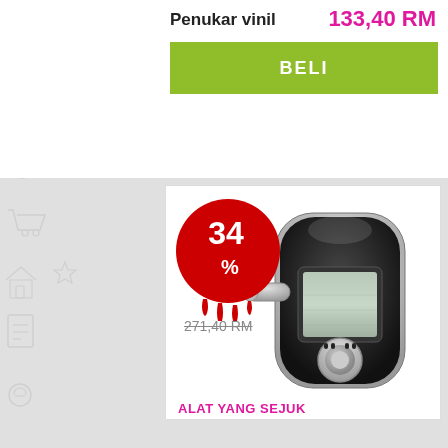Penukar vinil
133,40 RM
BELI
[Figure (photo): A black digital breathalyzer device with LCD screen, chrome accents, and a mouthpiece on the left side. A red circular discount badge showing '34 %' with dripping blood-like design overlays the top-left of the product. Strikethrough old price '271,40 RM' is visible below the badge.]
ALAT YANG SEJUK